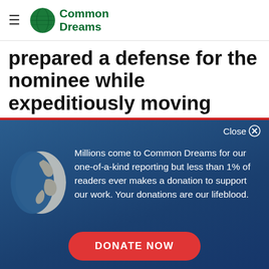Common Dreams
prepared a defense for the nominee while expeditiously moving through the nomination
[Figure (screenshot): Common Dreams donation modal overlay with globe illustration, text about reader support, and DONATE NOW button on blue gradient background]
Millions come to Common Dreams for our one-of-a-kind reporting but less than 1% of readers ever makes a donation to support our work. Your donations are our lifeblood.
DONATE NOW